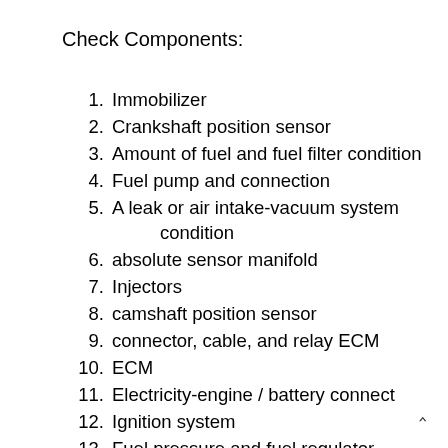Check Components:
1. Immobilizer
2. Crankshaft position sensor
3. Amount of fuel and fuel filter condition
4. Fuel pump and connection
5. A leak or air intake-vacuum system condition
6. absolute sensor manifold
7. Injectors
8. camshaft position sensor
9. connector, cable, and relay ECM
10. ECM
11. Electricity-engine / battery connect
12. Ignition system
13. Fuel pressure and fuel regulator